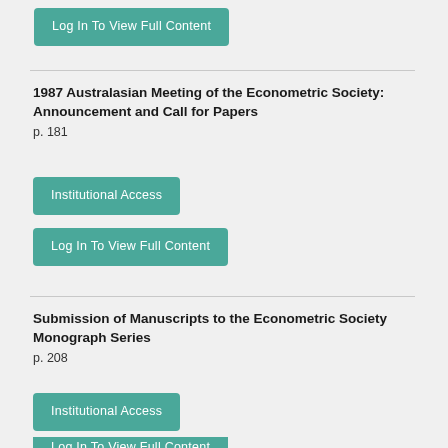[Figure (other): Teal button labeled 'Log In To View Full Content']
1987 Australasian Meeting of the Econometric Society: Announcement and Call for Papers
p. 181
[Figure (other): Teal button labeled 'Institutional Access']
[Figure (other): Teal button labeled 'Log In To View Full Content']
Submission of Manuscripts to the Econometric Society Monograph Series
p. 208
[Figure (other): Teal button labeled 'Institutional Access']
[Figure (other): Partial teal button at bottom (Log In To View Full Content)]